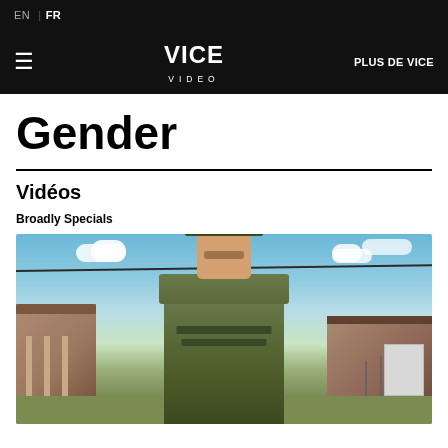EN | FR
≡  VICE VIDEO  PLUS DE VICE
Gender
Vidéos
Broadly Specials
[Figure (photo): A soldier in US Army camouflage uniform and patrol cap standing outdoors at a military base, with brick buildings and blue sky in the background.]